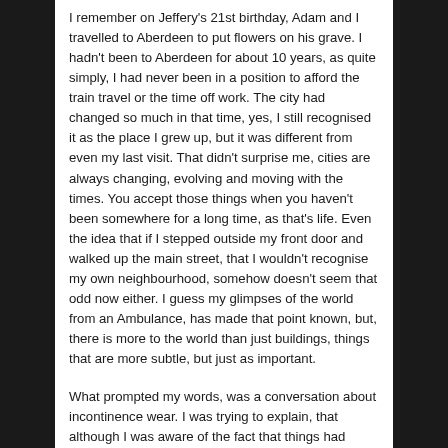I remember on Jeffery's 21st birthday, Adam and I travelled to Aberdeen to put flowers on his grave. I hadn't been to Aberdeen for about 10 years, as quite simply, I had never been in a position to afford the train travel or the time off work. The city had changed so much in that time, yes, I still recognised it as the place I grew up, but it was different from even my last visit. That didn't surprise me, cities are always changing, evolving and moving with the times. You accept those things when you haven't been somewhere for a long time, as that's life. Even the idea that if I stepped outside my front door and walked up the main street, that I wouldn't recognise my own neighbourhood, somehow doesn't seem that odd now either. I guess my glimpses of the world from an Ambulance, has made that point known, but, there is more to the world than just buildings, things that are more subtle, but just as important.
What prompted my words, was a conversation about incontinence wear. I was trying to explain, that although I was aware of the fact that things had changed dramatically in the past few years, the sheer fact that I had